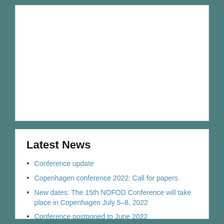[Figure (other): White empty card/panel area at the top of the page]
Latest News
Conference update
Copenhagen conference 2022: Call for papers
New dates: The 15th NOFOD Conference will take place in Copenhagen July 5–8, 2022
Conference postponed to June 2022
15th NOFOD CONFERENCE: Extended deadline